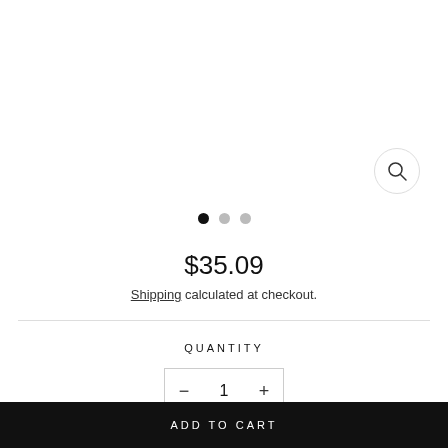[Figure (other): Zoom/search icon button (circle with magnifying glass)]
[Figure (other): Image carousel navigation dots: one black (active), two gray (inactive)]
$35.09
Shipping calculated at checkout.
QUANTITY
[Figure (other): Quantity selector control with minus button, value 1, and plus button]
ADD TO CART